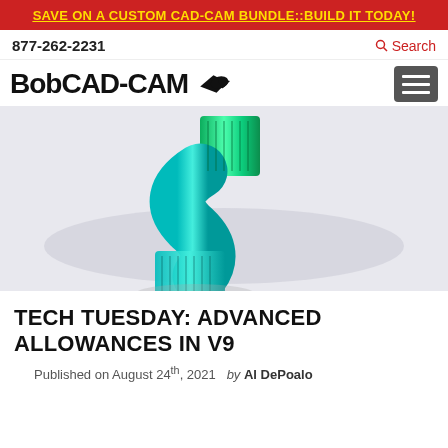SAVE ON A CUSTOM CAD-CAM BUNDLE::BUILD IT TODAY!
877-262-2231
Search
[Figure (logo): BobCAD-CAM logo with stylized bird/arrow icon]
[Figure (photo): 3D CAM toolpath visualization showing a green machined part with milling toolpaths on a grey background]
TECH TUESDAY: ADVANCED ALLOWANCES IN V9
Published on August 24th, 2021  by Al DePoalo